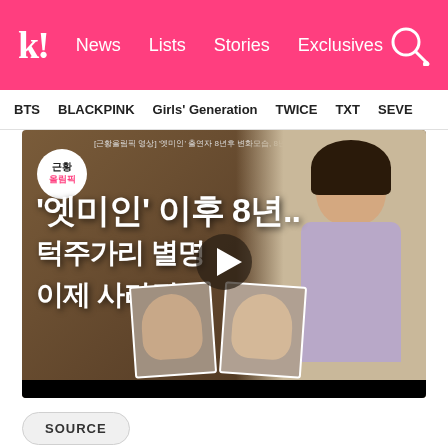k! News Lists Stories Exclusives
BTS BLACKPINK Girls' Generation TWICE TXT SEVE
[Figure (screenshot): YouTube-style video thumbnail showing Korean text overlay on brown background. Text reads: '엣미인' 이후 8년.. 턱주가리 별명 이제 사라졌요. Shows a woman in floral blouse on right, two before/after face inset photos at bottom center. Logo badge in top-left corner. Play button in center.]
SOURCE